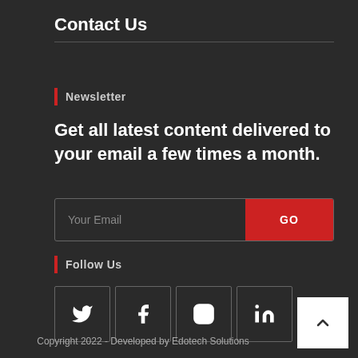Contact Us
Newsletter
Get all latest content delivered to your email a few times a month.
[Figure (other): Email input field with placeholder 'Your Email' and a red GO button]
Follow Us
[Figure (other): Four social media icon boxes: Twitter, Facebook, Instagram, LinkedIn]
Copyright 2022 - Developed by Edotech Solutions